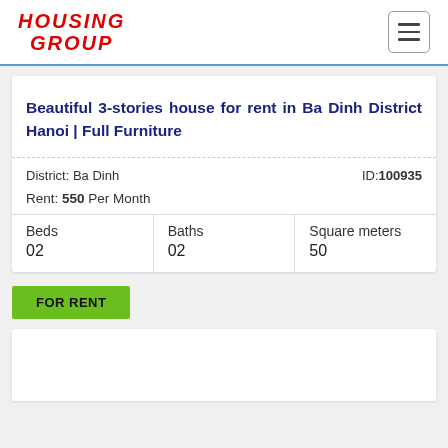[Figure (logo): Housing Group logo in red italic bold text with HOUSING on top and GROUP below]
Beautiful 3-stories house for rent in Ba Dinh District Hanoi | Full Furniture
District: Ba Dinh
ID:100935
Rent: 550 Per Month
| Beds | Baths | Square meters |
| --- | --- | --- |
| 02 | 02 | 50 |
FOR RENT